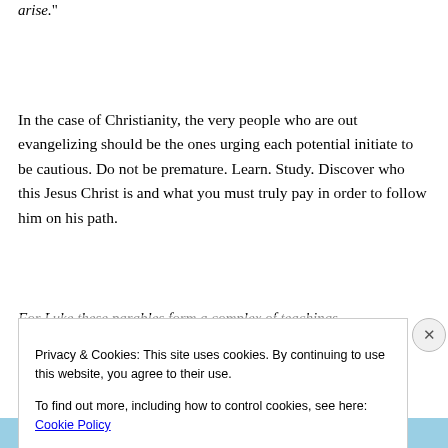arise."
In the case of Christianity, the very people who are out evangelizing should be the ones urging each potential initiate to be cautious. Do not be premature. Learn. Study. Discover who this Jesus Christ is and what you must truly pay in order to follow him on his path.
For Luke these parables form a complex of teachings
Privacy & Cookies: This site uses cookies. By continuing to use this website, you agree to their use.
To find out more, including how to control cookies, see here: Cookie Policy
Close and accept